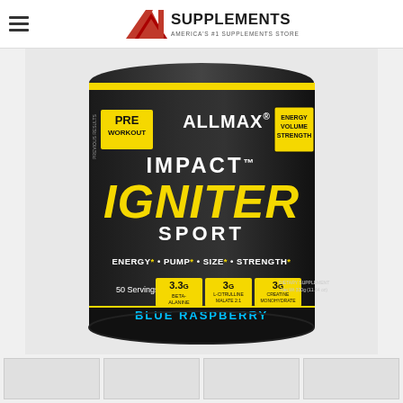A1 Supplements — America's #1 Supplements Store
[Figure (photo): Product photo of ALLMAX Impact Igniter Sport Pre-Workout supplement container, Blue Raspberry flavor, 50 servings, 330g. Black container with yellow and white branding. Text on label: PRE WORKOUT, ALLMAX, IMPACT IGNITER SPORT, ENERGY, VOLUME, STRENGTH, ENERGY* • PUMP* • SIZE* • STRENGTH*, 50 Servings, 3.3g BETA-ALANINE, 3g L-CITRULLINE MALATE 2:1, 3g CREATINE MONOHYDRATE, DIETARY SUPPLEMENT, Net Wt 330g (11.64 oz), BLUE RASPBERRY.]
[Figure (photo): Thumbnail image 1]
[Figure (photo): Thumbnail image 2]
[Figure (photo): Thumbnail image 3]
[Figure (photo): Thumbnail image 4]